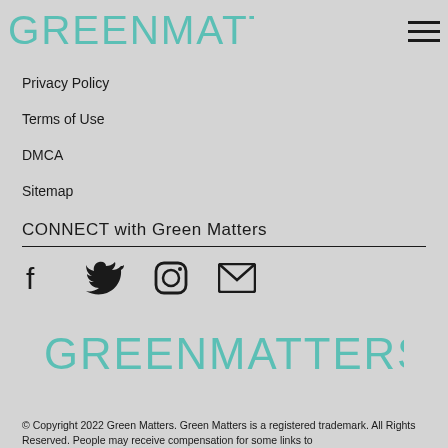GREENMATTERS
Privacy Policy
Terms of Use
DMCA
Sitemap
CONNECT with Green Matters
[Figure (illustration): Social media icons: Facebook, Twitter, Instagram, Email]
[Figure (logo): Green Matters logo in teal/mint color, large centered]
© Copyright 2022 Green Matters. Green Matters is a registered trademark. All Rights Reserved. People may receive compensation for some links to